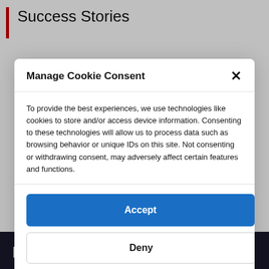Success Stories
Manage Cookie Consent
To provide the best experiences, we use technologies like cookies to store and/or access device information. Consenting to these technologies will allow us to process data such as browsing behavior or unique IDs on this site. Not consenting or withdrawing consent, may adversely affect certain features and functions.
Accept
Deny
View preferences
Cookie Policy   Privacy Statement
neighbourhoods to